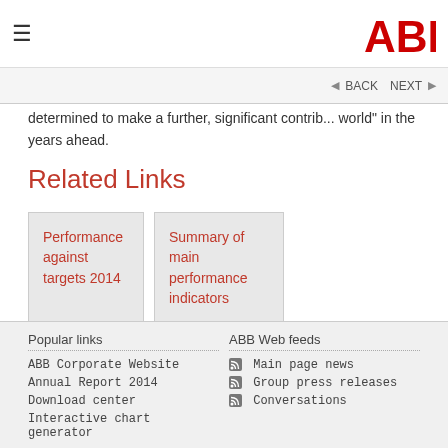ABB logo header with hamburger menu
determined to make a further, significant contrib... world" in the years ahead.
Related Links
Performance against targets 2014
Summary of main performance indicators
Popular links | ABB Web feeds | ABB Corporate Website | Annual Report 2014 | Download center | Interactive chart generator | Main page news | Group press releases | Conversations